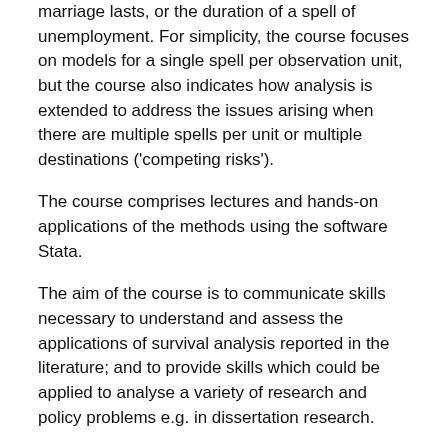marriage lasts, or the duration of a spell of unemployment. For simplicity, the course focuses on models for a single spell per observation unit, but the course also indicates how analysis is extended to address the issues arising when there are multiple spells per unit or multiple destinations ('competing risks').
The course comprises lectures and hands-on applications of the methods using the software Stata.
The aim of the course is to communicate skills necessary to understand and assess the applications of survival analysis reported in the literature; and to provide skills which could be applied to analyse a variety of research and policy problems e.g. in dissertation research.
Stephen P. Jenkins is Professor of Economic and Social Policy at the LSE since January 2011. Before that he was Professor of Economics at ISER, University of Essex. He has taught survival analysis to masters and summer school students for many years. Stephen uses survival analysis in his research and has written a number of widely-used specialist survival analysis modules for use in Stata. His survival analysis pages can be found on the